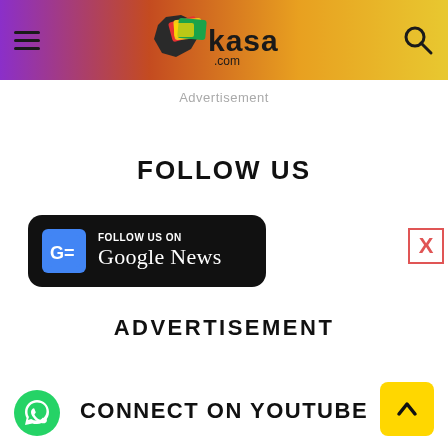[Figure (logo): Geekasa.com website header with purple-to-yellow gradient, hamburger menu on left, logo in center, search icon on right]
Advertisement
FOLLOW US
[Figure (illustration): Follow us on Google News black badge with Google News icon and white text]
ADVERTISEMENT
CONNECT ON YOUTUBE